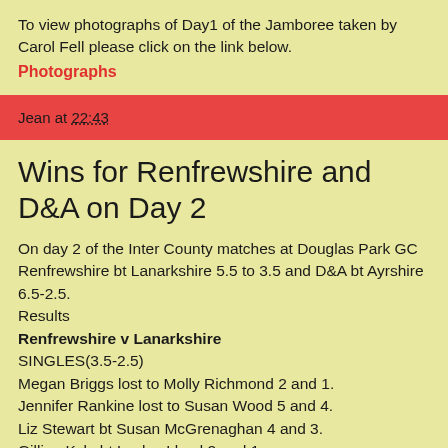To view photographs of Day1 of the Jamboree taken by Carol Fell please click on the link below.
Photographs
Jean at 22:43
Wins for Renfrewshire and D&A on Day 2
On day 2 of the Inter County matches at Douglas Park GC Renfrewshire bt Lanarkshire 5.5 to 3.5 and D&A bt Ayrshire 6.5-2.5.
Results
Renfrewshire v Lanarkshire
SINGLES(3.5-2.5)
Megan Briggs lost to Molly Richmond 2 and 1.
Jennifer Rankine lost to Susan Wood 5 and 4.
Liz Stewart bt Susan McGrenaghan 4 and 3.
Gillian Kyle bt Lesley Lloyd 2 and 1.